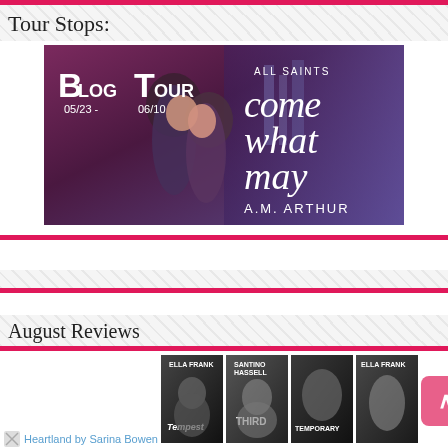Tour Stops:
[Figure (illustration): Blog Tour banner for 'Come What May' by A.M. Arthur, All Saints series. Dates 05/23 - 06/10. Shows two people about to kiss.]
August Reviews
[Figure (photo): Row of book covers including Heartland by Sarina Bowen and Ella Frank books (Tempest, Third, Temporary, and another)]
Heartland by Sarina Bowen